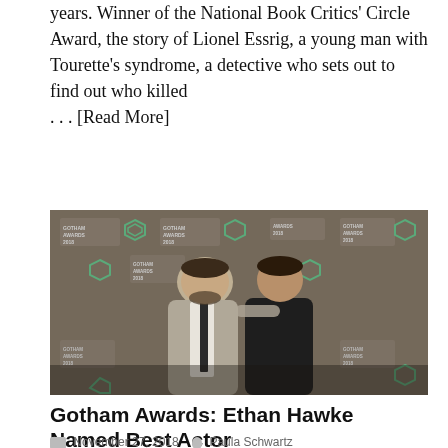years. Winner of the National Book Critics' Circle Award, the story of Lionel Essrig, a young man with Tourette's syndrome, a detective who sets out to find out who killed . . . [Read More]
[Figure (photo): Two men posing together in front of a Gotham Awards 2018 step-and-repeat banner backdrop. The man on the left wears a light grey suit with a dark tie; the man on the right wears all black. The man on the left has his arm around the man on the right.]
Gotham Awards: Ethan Hawke Named Best Actor
November 27, 2018  Paula Schwartz